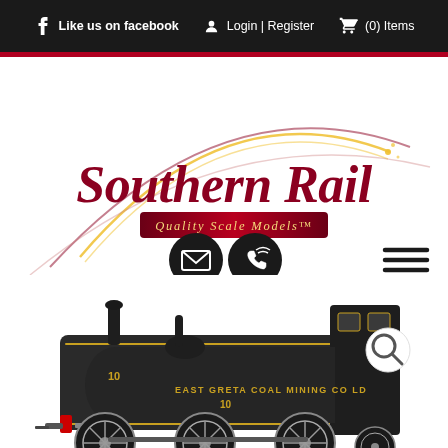Like us on facebook  Login | Register  (0) Items
[Figure (logo): Southern Rail logo with decorative curved rainbow lines and tagline 'Quality Scale Models™']
[Figure (photo): Scale model of East Greta Coal Mining Co Ltd locomotive number 10, dark green/black with gold lettering, red bufferbeam, displayed on white background with magnifying glass icon overlay]